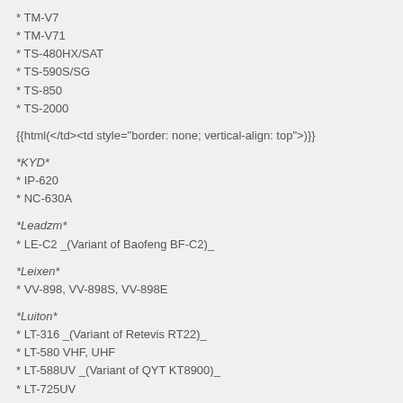* TM-V7
* TM-V71
* TS-480HX/SAT
* TS-590S/SG
* TS-850
* TS-2000
{{html(</td><td style="border: none; vertical-align: top">)}}
*KYD*
* IP-620
* NC-630A
*Leadzm*
* LE-C2 _(Variant of Baofeng BF-C2)_
*Leixen*
* VV-898, VV-898S, VV-898E
*Luiton*
* LT-316 _(Variant of Retevis RT22)_
* LT-580 VHF, UHF
* LT-588UV _(Variant of QYT KT8900)_
* LT-725UV
* LT-898UV _(Variant of Leixen VV-898)_
*Marui*
* MR-UV1 _(use TYT TH-UV88)_
*Midland*
* DBR2500 _(Variant of Anytone AT-778UV)_